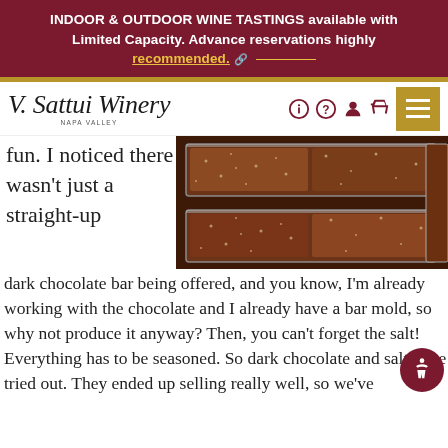INDOOR & OUTDOOR WINE TASTINGS available with Limited Capacity. Advance reservations highly recommended.
[Figure (logo): V. Sattui Winery Napa Valley cursive logo with navigation icons and gold menu button]
[Figure (photo): Close-up photo of chocolate bars in rectangular metal molds with sugar/salt crystals on top]
fun. I noticed there wasn't just a straight-up dark chocolate bar being offered, and you know, I'm already working with the chocolate and I already have a bar mold, so why not produce it anyway?  Then, you can't forget the salt!  Everything has to be seasoned. So dark chocolate and salt – we tried out.  They ended up selling really well, so we've